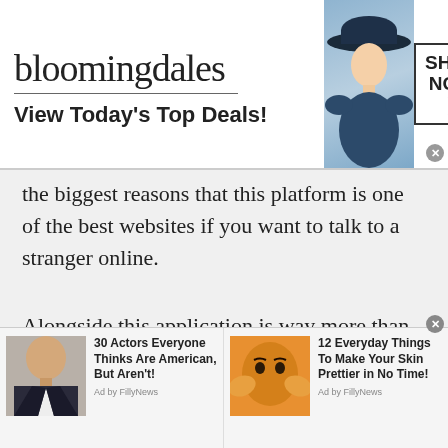[Figure (screenshot): Bloomingdale's advertisement banner: logo text 'bloomingdales', tagline 'View Today's Top Deals!', fashion model with hat, 'SHOP NOW >' button box]
the biggest reasons that this platform is one of the best websites if you want to talk to a stranger online.
Alongside this application is way more than just a regular Serbian chatting site. Those chatting sites are mostly scam and have bots that are talking with another gender. Their main purpose is to take advantage of the other people's needs and wants. These needs and wants could be both biological and
[Figure (screenshot): Two advertisement items at bottom: 1) Photo of bald man in suit with headline '30 Actors Everyone Thinks Are American, But Aren't!' Ad by FillyNews. 2) Photo of woman with orange face mask with headline '12 Everyday Things To Make Your Skin Prettier in No Time!' Ad by FillyNews.]